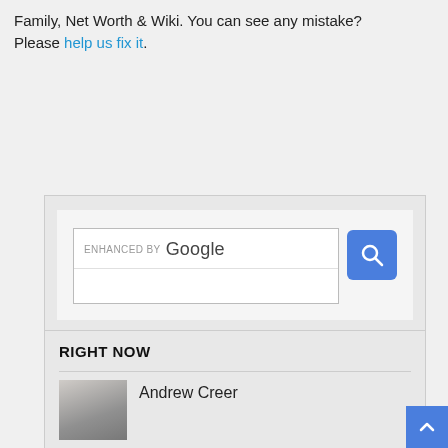Family, Net Worth & Wiki. You can see any mistake? Please help us fix it.
[Figure (screenshot): Google enhanced search box with search button]
RIGHT NOW
Andrew Creer
[Figure (photo): Photo of Andrew Creer, man in suit at event]